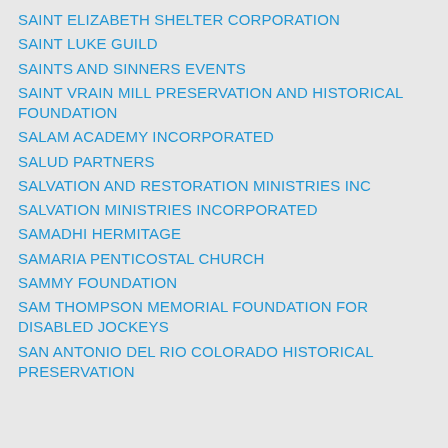SAINT ELIZABETH SHELTER CORPORATION
SAINT LUKE GUILD
SAINTS AND SINNERS EVENTS
SAINT VRAIN MILL PRESERVATION AND HISTORICAL FOUNDATION
SALAM ACADEMY INCORPORATED
SALUD PARTNERS
SALVATION AND RESTORATION MINISTRIES INC
SALVATION MINISTRIES INCORPORATED
SAMADHI HERMITAGE
SAMARIA PENTICOSTAL CHURCH
SAMMY FOUNDATION
SAM THOMPSON MEMORIAL FOUNDATION FOR DISABLED JOCKEYS
SAN ANTONIO DEL RIO COLORADO HISTORICAL PRESERVATION